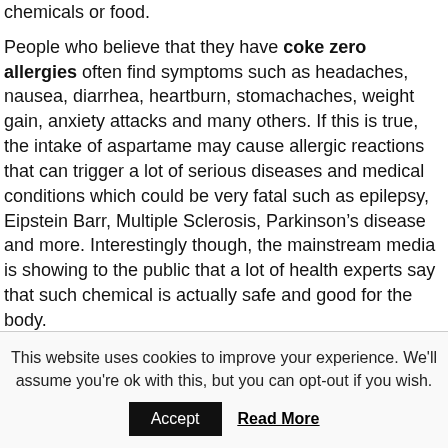chemicals or food.
People who believe that they have coke zero allergies often find symptoms such as headaches, nausea, diarrhea, heartburn, stomachaches, weight gain, anxiety attacks and many others. If this is true, the intake of aspartame may cause allergic reactions that can trigger a lot of serious diseases and medical conditions which could be very fatal such as epilepsy, Eipstein Barr, Multiple Sclerosis, Parkinson’s disease and more. Interestingly though, the mainstream media is showing to the public that a lot of health experts say that such chemical is actually safe and good for the body.
This website uses cookies to improve your experience. We'll assume you're ok with this, but you can opt-out if you wish.
Accept
Read More